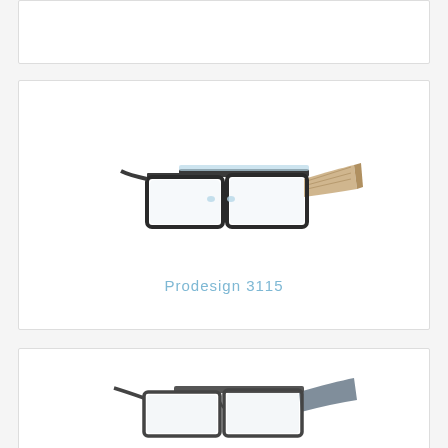[Figure (photo): Top card - partially visible, white background, cropped eyeglasses product card]
[Figure (photo): Eyeglasses product photo - Prodesign 3115 - dark metal frame with light blue/beige temples, shown at angle]
Prodesign 3115
[Figure (photo): Third eyeglasses product card - dark metal frame glasses shown at angle, partially visible at bottom of page]